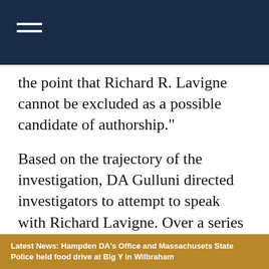the point that Richard R. Lavigne cannot be excluded as a possible candidate of authorship."
Based on the trajectory of the investigation, DA Gulluni directed investigators to attempt to speak with Richard Lavigne. Over a series of five days, on April 14, 15, 16, 17, and May 4, 2021, a Massachusetts State Police Trooper from the Hampden District Attorney's Office conducted a series of interviews with Lavigne, totaling dialogue of approximately
Latest News: Hampden DA's Office and Massachusets State Police held food drive at Big Y in Wilbraham